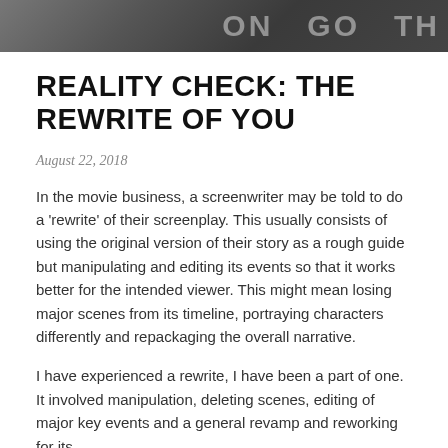[Figure (photo): Top strip photo showing a newspaper or magazine with partial text visible, dark/muted tones]
REALITY CHECK: THE REWRITE OF YOU
August 22, 2018
In the movie business, a screenwriter may be told to do a 'rewrite' of their screenplay. This usually consists of using the original version of their story as a rough guide but manipulating and editing its events so that it works better for the intended viewer. This might mean losing major scenes from its timeline, portraying characters differently and repackaging the overall narrative.
I have experienced a rewrite, I have been a part of one. It involved manipulation, deleting scenes, editing of major key events and a general revamp and reworking for its